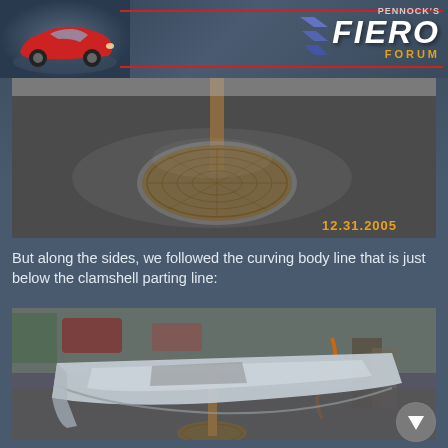[Figure (logo): Pennock's Fiero Forum logo with red sports car and blue chevron shapes]
[Figure (photo): Close-up photo of a circular metallic stand base on pavement with date stamp 12.31.2005]
But along the sides, we followed the curving body line that is just below the clamshell parting line:
[Figure (photo): Photo of a silver fiberglass body panel (clamshell hood) sitting on a stand in a driveway, with cars and workshop equipment in background]